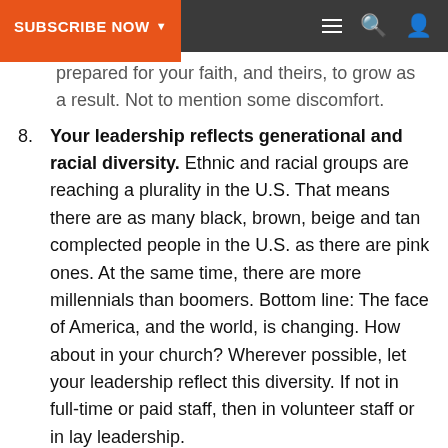SUBSCRIBE NOW
prepared for your faith, and theirs, to grow as a result. Not to mention some discomfort.
8. Your leadership reflects generational and racial diversity. Ethnic and racial groups are reaching a plurality in the U.S. That means there are as many black, brown, beige and tan complected people in the U.S. as there are pink ones. At the same time, there are more millennials than boomers. Bottom line: The face of America, and the world, is changing. How about in your church? Wherever possible, let your leadership reflect this diversity. If not in full-time or paid staff, then in volunteer staff or in lay leadership.
9. Love is a reality not a slogan. You may say you